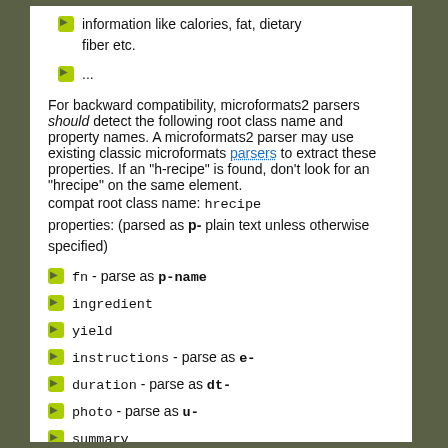information like calories, fat, dietary fiber etc.
...
For backward compatibility, microformats2 parsers should detect the following root class name and property names. A microformats2 parser may use existing classic microformats parsers to extract these properties. If an "h-recipe" is found, don't look for an "hrecipe" on the same element.
compat root class name: hrecipe
properties: (parsed as p- plain text unless otherwise specified)
fn - parse as p-name
ingredient
yield
instructions - parse as e-
duration - parse as dt-
photo - parse as u-
summary